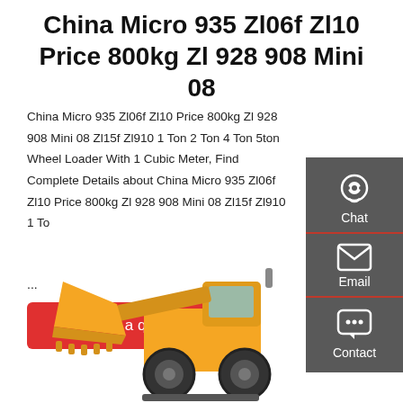China Micro 935 Zl06f Zl10 Price 800kg Zl 928 908 Mini 08
China Micro 935 Zl06f Zl10 Price 800kg Zl 928 908 Mini 08 Zl15f Zl910 1 Ton 2 Ton 4 Ton 5ton Wheel Loader With 1 Cubic Meter, Find Complete Details about China Micro 935 Zl06f Zl10 Price 800kg Zl 928 908 Mini 08 Zl15f Zl910 1 To...
...
[Figure (infographic): Red 'Get a quote' button]
[Figure (infographic): Side panel with Chat, Email, Contact icons on dark grey background]
[Figure (photo): Yellow wheel loader construction machine]